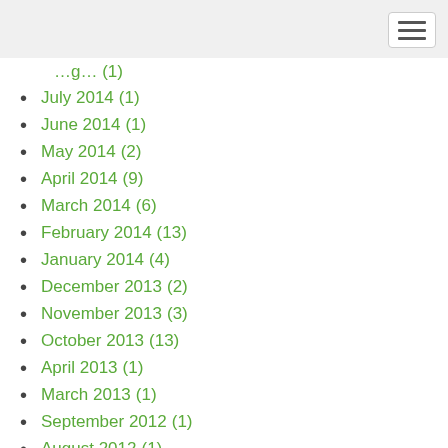July 2014 (1)
June 2014 (1)
May 2014 (2)
April 2014 (9)
March 2014 (6)
February 2014 (13)
January 2014 (4)
December 2013 (2)
November 2013 (3)
October 2013 (13)
April 2013 (1)
March 2013 (1)
September 2012 (1)
August 2012 (1)
July 2012 (5)
June 2012 (4)
May 2012 (1)